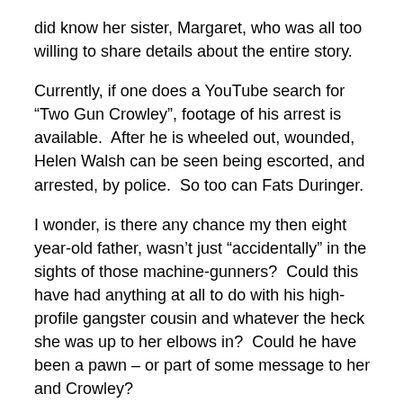did know her sister, Margaret, who was all too willing to share details about the entire story.
Currently, if one does a YouTube search for “Two Gun Crowley”, footage of his arrest is available.  After he is wheeled out, wounded, Helen Walsh can be seen being escorted, and arrested, by police.  So too can Fats Duringer.
I wonder, is there any chance my then eight year-old father, wasn’t just “accidentally” in the sights of those machine-gunners?  Could this have had anything at all to do with his high-profile gangster cousin and whatever the heck she was up to her elbows in?  Could he have been a pawn – or part of some message to her and Crowley?
Probably not, but I’ll never know for sure.